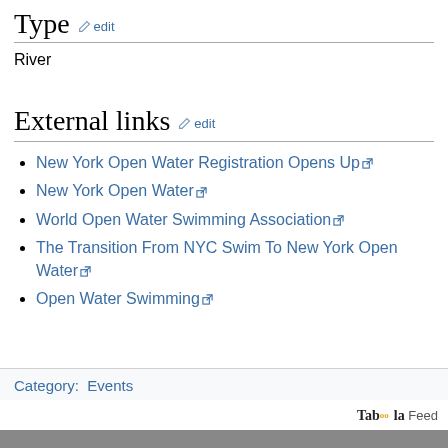Type  edit
River
External links  edit
New York Open Water Registration Opens Up
New York Open Water
World Open Water Swimming Association
The Transition From NYC Swim To New York Open Water
Open Water Swimming
Category:  Events
Taboola Feed